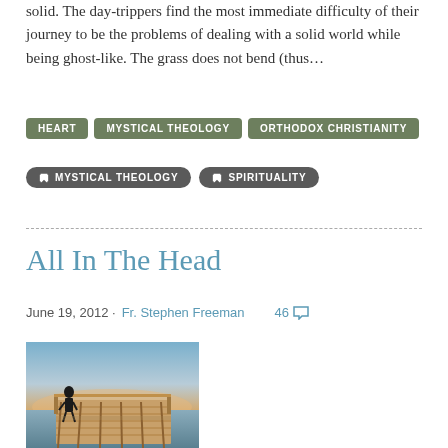solid. The day-trippers find the most immediate difficulty of their journey to be the problems of dealing with a solid world while being ghost-like. The grass does not bend (thus…
HEART
MYSTICAL THEOLOGY
ORTHODOX CHRISTIANITY
MYSTICAL THEOLOGY
SPIRITUALITY
All In The Head
June 19, 2012 · Fr. Stephen Freeman    46
[Figure (photo): Photo of a wooden pier/dock extending over water at dusk or dawn, with a silhouette of a person visible, warm sunset colors in the background sky.]